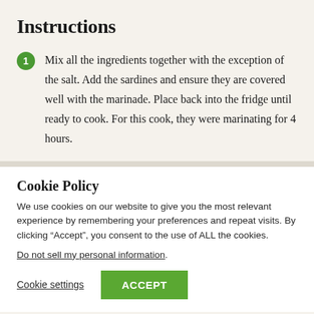Instructions
Mix all the ingredients together with the exception of the salt. Add the sardines and ensure they are covered well with the marinade. Place back into the fridge until ready to cook. For this cook, they were marinating for 4 hours.
Cookie Policy
We use cookies on our website to give you the most relevant experience by remembering your preferences and repeat visits. By clicking “Accept”, you consent to the use of ALL the cookies.
Do not sell my personal information.
Cookie settings  ACCEPT